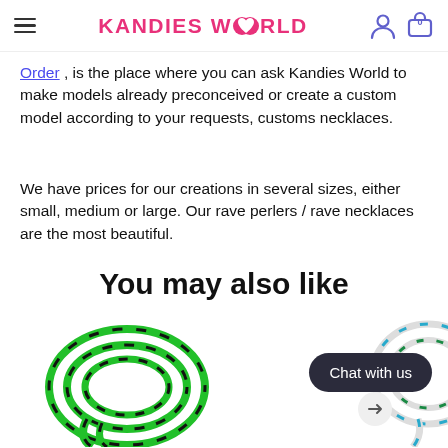Kandies World
Order, is the place where you can ask Kandies World to make models already preconceived or create a custom model according to your requests, customs necklaces.
We have prices for our creations in several sizes, either small, medium or large. Our rave perlers / rave necklaces are the most beautiful.
You may also like
[Figure (photo): Green and black beaded kandi necklace coiled on white background]
[Figure (photo): White and blue/teal beaded kandi necklace on white background (partially visible)]